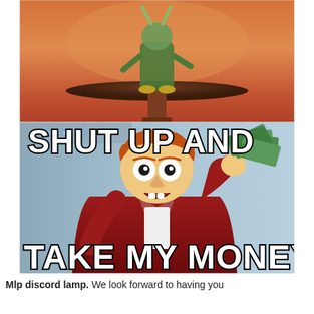[Figure (illustration): Two-panel internet meme. Top panel: animated cartoon character (appears to be from My Little Pony, Discord) standing on a round pedestal/table against a warm orange-red background. Bottom panel: Futurama character Fry holding up a fistful of money with text 'SHUT UP AND' at the top and 'TAKE MY MONEY!' at the bottom.]
Mlp discord lamp. We look forward to having you